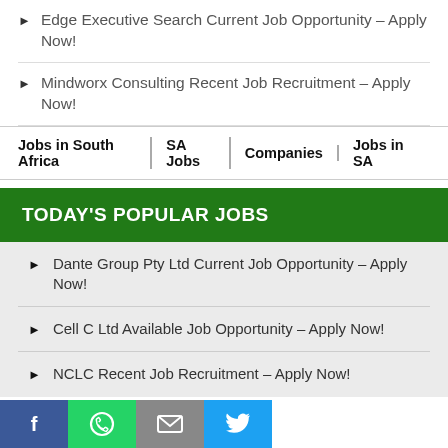Edge Executive Search Current Job Opportunity – Apply Now!
Mindworx Consulting Recent Job Recruitment – Apply Now!
Jobs in South Africa | SA Jobs | Companies | Jobs in SA
TODAY'S POPULAR JOBS
Dante Group Pty Ltd Current Job Opportunity – Apply Now!
Cell C Ltd Available Job Opportunity – Apply Now!
NCLC Recent Job Recruitment – Apply Now!
Facebook | WhatsApp | Email | Twitter